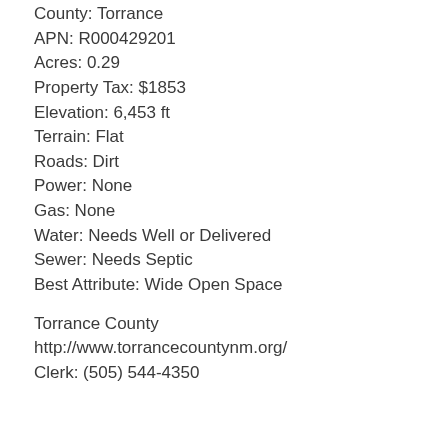County: Torrance
APN: R000429201
Acres: 0.29
Property Tax: $1853
Elevation: 6,453 ft
Terrain: Flat
Roads: Dirt
Power: None
Gas: None
Water: Needs Well or Delivered
Sewer: Needs Septic
Best Attribute: Wide Open Space
Torrance County
http://www.torrancecountynm.org/
Clerk: (505) 544-4350